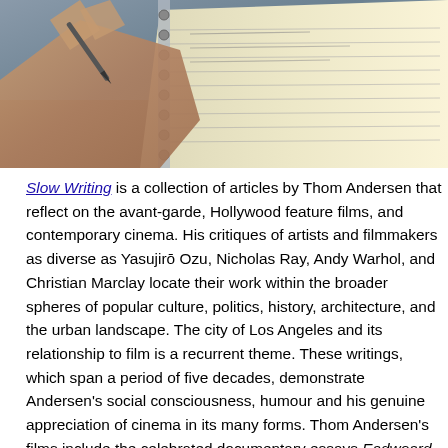[Figure (photo): Close-up photo of a hand holding a pen and writing in a spiral notebook, with pages visible and a blurred background.]
Slow Writing is a collection of articles by Thom Andersen that reflect on the avant-garde, Hollywood feature films, and contemporary cinema. His critiques of artists and filmmakers as diverse as Yasujirō Ozu, Nicholas Ray, Andy Warhol, and Christian Marclay locate their work within the broader spheres of popular culture, politics, history, architecture, and the urban landscape. The city of Los Angeles and its relationship to film is a recurrent theme. These writings, which span a period of five decades, demonstrate Andersen's social consciousness, humour and his genuine appreciation of cinema in its many forms. Thom Andersen's films include the celebrated documentary essays Eadweard Muybridge, Zoopraxographer (1975), Red Hollywood (1996), Los Angeles Plays Itself (2003), and The Thoughts That Once We Had (2015). Of the thirty-four texts included in the book, six are hitherto unpublished; others have been revised or appear in different versions to those